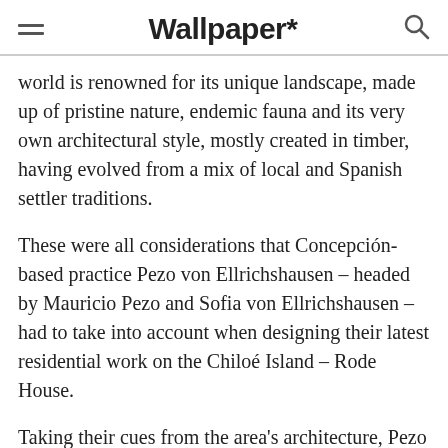Wallpaper*
world is renowned for its unique landscape, made up of pristine nature, endemic fauna and its very own architectural style, mostly created in timber, having evolved from a mix of local and Spanish settler traditions.
These were all considerations that Concepción-based practice Pezo von Ellrichshausen – headed by Mauricio Pezo and Sofia von Ellrichshausen – had to take into account when designing their latest residential work on the Chiloé Island – Rode House.
Taking their cues from the area's architecture, Pezo von Ellrichshausen put together a house built in locally-sourced wood – from its roof's shingles, to its interior's